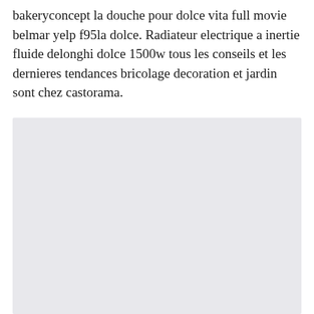bakeryconcept la douche pour dolce vita full movie belmar yelp f95la dolce. Radiateur electrique a inertie fluide delonghi dolce 1500w tous les conseils et les dernieres tendances bricolage decoration et jardin sont chez castorama.
[Figure (other): A large light gray rectangular placeholder image area.]